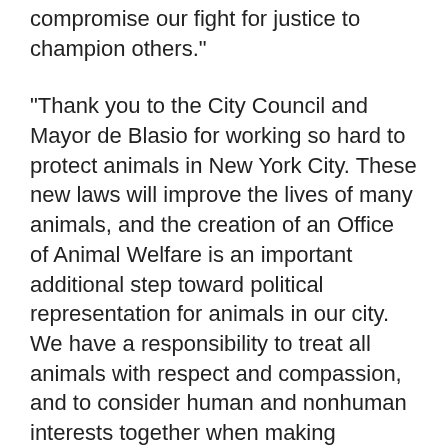compromise our fight for justice to champion others."
"Thank you to the City Council and Mayor de Blasio for working so hard to protect animals in New York City. These new laws will improve the lives of many animals, and the creation of an Office of Animal Welfare is an important additional step toward political representation for animals in our city. We have a responsibility to treat all animals with respect and compassion, and to consider human and nonhuman interests together when making decisions that affect us all. I am proud of my city for continuing to take the lead on animal welfare, and I look forward to working with them to build on this progress," said Dr. Jeff Sebo, Director of the NYU Animal Studies M.A. Program.
"Mayor de Blasio and city lawmakers continue to lead the way on animal protection by passing into law a series of historic bills aimed at creating a more humane society in New York City. Today's signing supports a new law